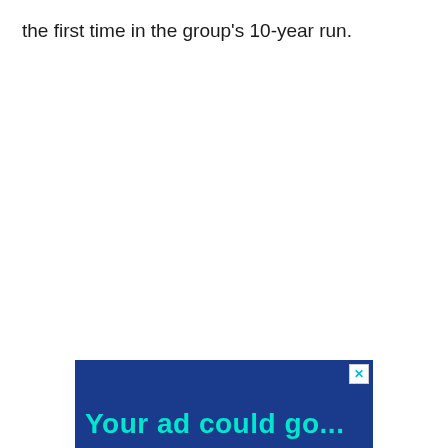the first time in the group's 10-year run.
[Figure (other): Advertisement banner with blue background showing 'Your ad could go...' text in teal/cyan color with a close (X) button in the top right corner.]